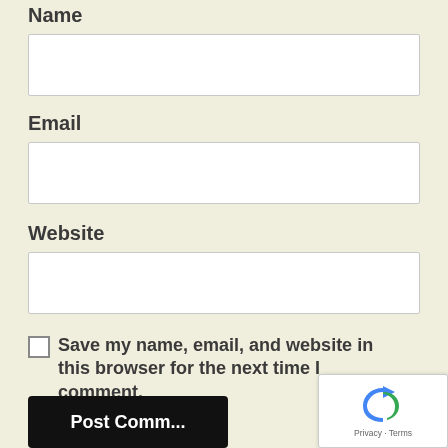Name
[Figure (other): Empty text input field for Name]
Email
[Figure (other): Empty text input field for Email]
Website
[Figure (other): Empty text input field for Website]
Save my name, email, and website in this browser for the next time I comment.
[Figure (other): Post Comment button (black)]
[Figure (logo): reCAPTCHA badge with Privacy and Terms links]